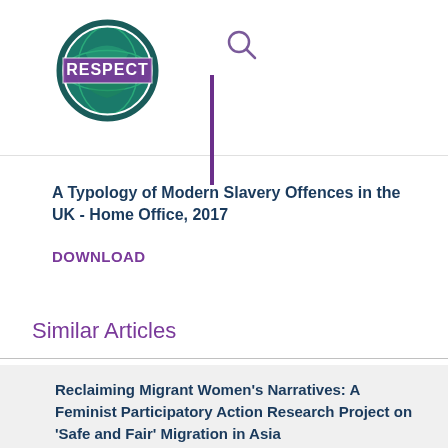[Figure (logo): RESPECT logo: circular green and blue globe design with 'RESPECT' stamp text in purple/white across the center]
A Typology of Modern Slavery Offences in the UK - Home Office, 2017
DOWNLOAD
Similar Articles
Reclaiming Migrant Women's Narratives: A Feminist Participatory Action Research Project on ‘Safe and Fair’ Migration in Asia